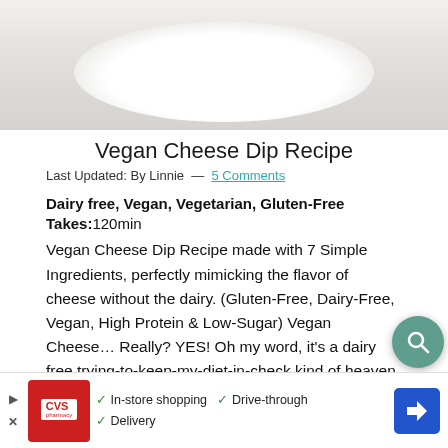[Figure (photo): Partial photo of a white plate/bowl with what appears to be vegan cheese dip, shown from above against a light gray/white background]
Vegan Cheese Dip Recipe
Last Updated: By Linnie — 5 Comments
Dairy free, Vegan, Vegetarian, Gluten-Free
Takes:120min
Vegan Cheese Dip Recipe made with 7 Simple Ingredients, perfectly mimicking the flavor of cheese without the dairy. (Gluten-Free, Dairy-Free, Vegan, High Protein & Low-Sugar) Vegan Cheese… Really? YES! Oh my word, it's a dairy free trying-to-keep-my-diet-in-check kind of heaven. Especially the first week after getting gluten-poisoned. I confess, cheese is a hard one for m
[Figure (advertisement): CVS Pharmacy ad banner at bottom with icons for In-store shopping, Drive-through, and Delivery]